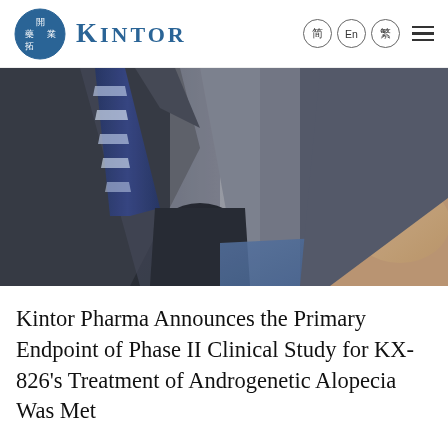KINTOR — 简 En 繁
[Figure (photo): Close-up photo of two people in business suits, one with a blue striped tie, appearing to be in a professional/medical consultation setting]
Kintor Pharma Announces the Primary Endpoint of Phase II Clinical Study for KX-826's Treatment of Androgenetic Alopecia Was Met